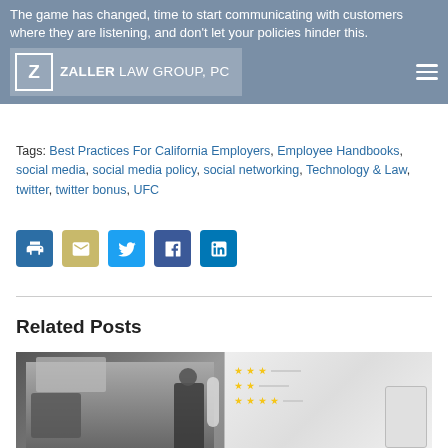Zaller Law Group, PC
The game has changed, time to start communicating with customers where they are listening, and don't let your policies hinder this.
Tags: Best Practices For California Employers, Employee Handbooks, social media, social media policy, social networking, Technology & Law, twitter, twitter bonus, UFC
[Figure (other): Social share icons: print, email, Twitter, Facebook, LinkedIn]
Related Posts
[Figure (photo): Restaurant or kitchen scene with a person working behind a counter, partial view of a second image showing a whiteboard with ratings/stars]